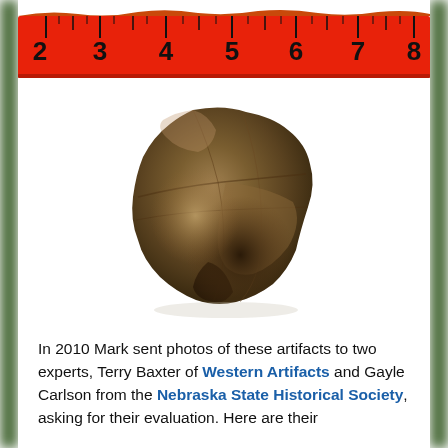[Figure (photo): Red measuring ruler/tape showing numbers 2 through 8, used as scale reference for artifact]
[Figure (photo): A dark brownish flint or chert stone artifact (lithic flake or core) photographed on white background, showing knapping marks and facets]
In 2010 Mark sent photos of these artifacts to two experts, Terry Baxter of Western Artifacts and Gayle Carlson from the Nebraska State Historical Society, asking for their evaluation.  Here are their